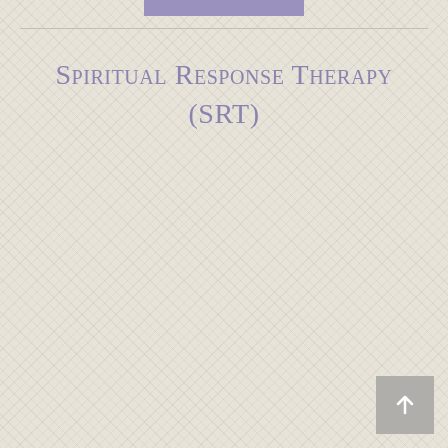Spiritual Response Therapy (SRT)